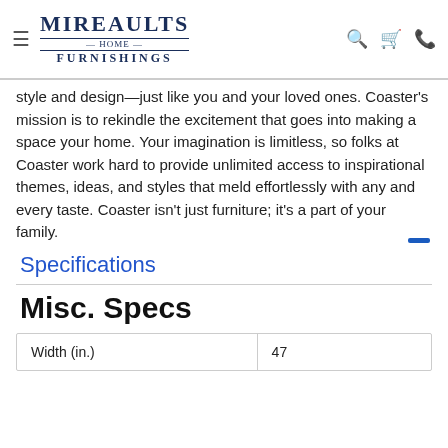Mireaults Home Furnishings — navigation header with logo, hamburger menu, search, cart, and phone icons
style and design—just like you and your loved ones. Coaster's mission is to rekindle the excitement that goes into making a space your home. Your imagination is limitless, so folks at Coaster work hard to provide unlimited access to inspirational themes, ideas, and styles that meld effortlessly with any and every taste. Coaster isn't just furniture; it's a part of your family.
Specifications
Misc. Specs
| Width (in.) | 47 |
| --- | --- |